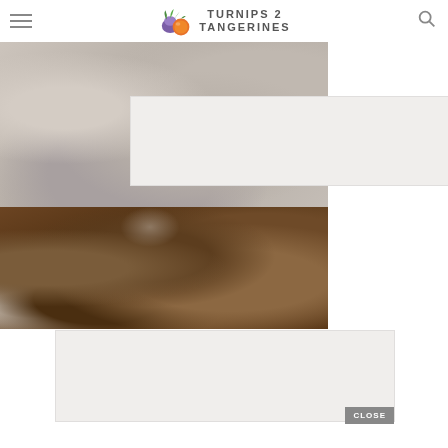Turnips 2 Tangerines
[Figure (photo): Close-up photo of raw or cooked chicken pieces in a light-colored sauce or marinade, top portion]
[Figure (photo): Advertisement placeholder box (gray/white rectangle)]
[Figure (photo): Close-up photo of braised or stewed meat pieces in a dark brown gravy sauce]
[Figure (photo): Advertisement placeholder box (gray/white rectangle) with a CLOSE button]